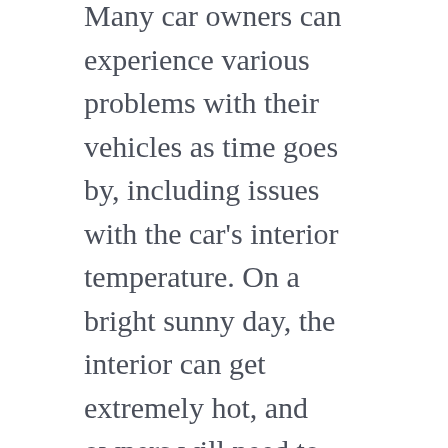Many car owners can experience various problems with their vehicles as time goes by, including issues with the car's interior temperature. On a bright sunny day, the interior can get extremely hot, and owners will need to know how to cool down their interiors to make driving comfortable.
Window tints are excellent for protecting the interior from the damaging effects of sunlight on the car. The tint film can reduce the heat that enters through the windows, effectively protecting your skin as well. Besides the protection offered by window tint films, they can also make the